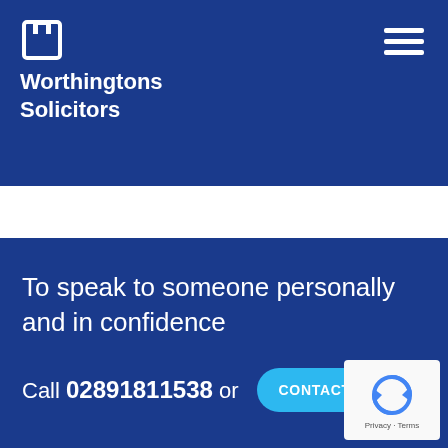[Figure (logo): Worthingtons Solicitors logo — white square bracket icon above white bold text 'Worthingtons Solicitors']
[Figure (other): Hamburger menu icon (three white horizontal lines) in top right corner]
To speak to someone personally and in confidence
Call 02891811538 or
CONTACT US
[Figure (other): Google reCAPTCHA badge in bottom right corner with logo and 'Privacy - Terms' text]